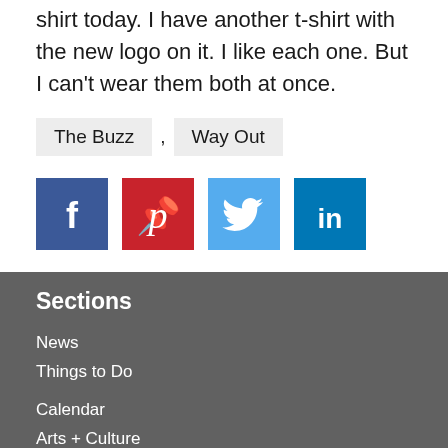shirt today. I have another t-shirt with the new logo on it. I like each one. But I can't wear them both at once.
The Buzz
Way Out
[Figure (infographic): Social media share buttons: Facebook (dark blue), Pinterest (red), Twitter (light blue), LinkedIn (medium blue)]
Sections
News
Things to Do
Calendar
Arts + Culture
Charlotte Brewery Guide
Travel
Food + Drink